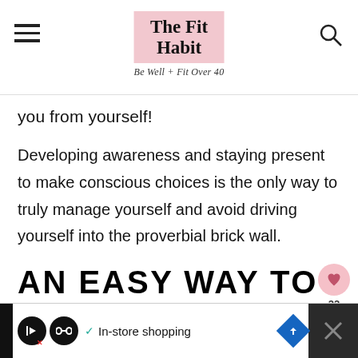The Fit Habit — Be Well + Fit Over 40
you from yourself!
Developing awareness and staying present to make conscious choices is the only way to truly manage yourself and avoid driving yourself into the proverbial brick wall.
AN EASY WAY TO START MEDITATING
If [cut off] ...t a.